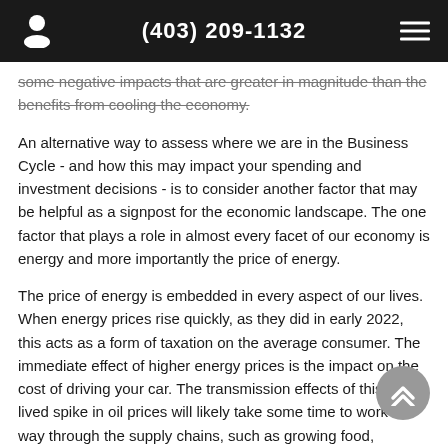(403) 209-1132
some negative impacts that are greater in magnitude than the benefits from cooling the economy.
An alternative way to assess where we are in the Business Cycle - and how this may impact your spending and investment decisions - is to consider another factor that may be helpful as a signpost for the economic landscape. The one factor that plays a role in almost every facet of our economy is energy and more importantly the price of energy.
The price of energy is embedded in every aspect of our lives. When energy prices rise quickly, as they did in early 2022, this acts as a form of taxation on the average consumer. The immediate effect of higher energy prices is the impact on the cost of driving your car. The transmission effects of this short-lived spike in oil prices will likely take some time to work its way through the supply chains, such as growing food, transportation and so on.